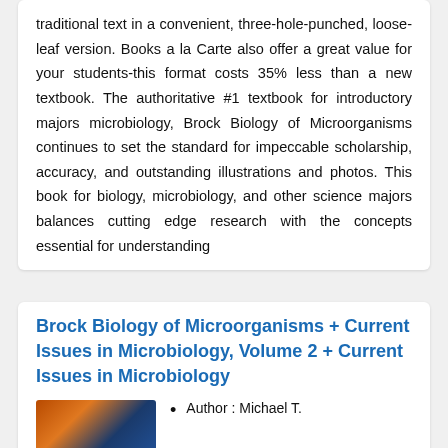traditional text in a convenient, three-hole-punched, loose-leaf version. Books a la Carte also offer a great value for your students-this format costs 35% less than a new textbook. The authoritative #1 textbook for introductory majors microbiology, Brock Biology of Microorganisms continues to set the standard for impeccable scholarship, accuracy, and outstanding illustrations and photos. This book for biology, microbiology, and other science majors balances cutting edge research with the concepts essential for understanding
Brock Biology of Microorganisms + Current Issues in Microbiology, Volume 2 + Current Issues in Microbiology
Author : Michael T.